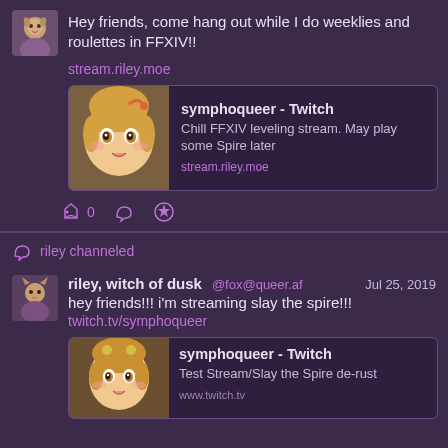[Figure (screenshot): Social media feed screenshot showing Mastodon/Fediverse posts about streaming FFXIV and Slay the Spire on Twitch]
Hey friends, come hang out while I do weeklies and roulettes in FFXIV!!
stream.riley.moe
symphoqueer - Twitch
Chill FFXIV leveling stream. May play some Spire later
stream.riley.moe
0
riley channeled
riley, witch of dusk @fox@queer.af Jul 25, 2019
hey friends!!! i'm streaming slay the spire!!!
twitch.tv/symphoqueer
symphoqueer - Twitch
Test Stream/Slay the Spire de-rust